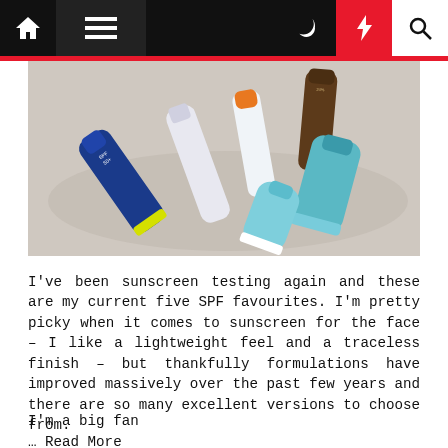Navigation bar with home, menu, moon, bolt, and search icons
[Figure (photo): Five sunscreen/SPF product tubes arranged diagonally on a light beige surface, including a blue tube labeled SPF 50+, a white/pale tube, an orange-capped bottle, and teal/aqua squeeze bottles.]
I've been sunscreen testing again and these are my current five SPF favourites. I'm pretty picky when it comes to sunscreen for the face – I like a lightweight feel and a traceless finish – but thankfully formulations have improved massively over the past few years and there are so many excellent versions to choose from.
I'm a big fan
… Read More